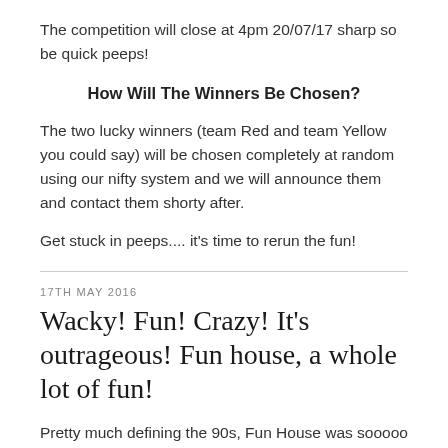The competition will close at 4pm 20/07/17 sharp so be quick peeps!
How Will The Winners Be Chosen?
The two lucky winners (team Red and team Yellow you could say) will be chosen completely at random using our nifty system and we will announce them and contact them shorty after.
Get stuck in peeps.... it's time to rerun the fun!
17TH MAY 2016
Wacky! Fun! Crazy! It's outrageous! Fun house, a whole lot of fun!
Pretty much defining the 90s, Fun House was sooooo much more than just another kids TV Show. It was a...